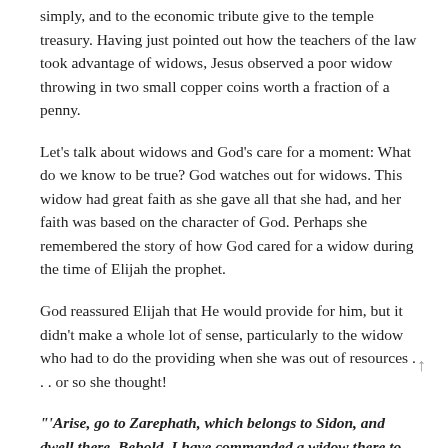simply, and to the economic tribute give to the temple treasury. Having just pointed out how the teachers of the law took advantage of widows, Jesus observed a poor widow throwing in two small copper coins worth a fraction of a penny.
Let's talk about widows and God's care for a moment: What do we know to be true? God watches out for widows. This widow had great faith as she gave all that she had, and her faith was based on the character of God. Perhaps she remembered the story of how God cared for a widow during the time of Elijah the prophet.
God reassured Elijah that He would provide for him, but it didn't make a whole lot of sense, particularly to the widow who had to do the providing when she was out of resources . . . or so she thought!
"'Arise, go to Zarephath, which belongs to Sidon, and dwell there. Behold, I have commanded a widow there to feed you.' So, he arose and went to Zarephath. And when